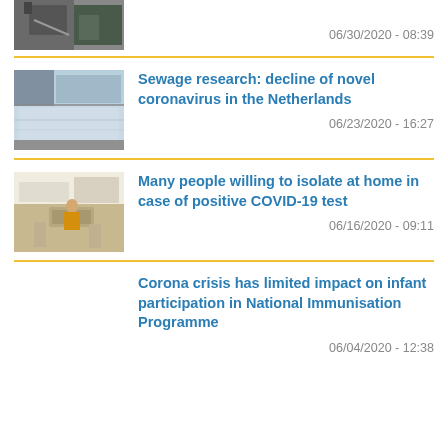[Figure (photo): Partial top photo showing a person with camera equipment, cropped]
06/30/2020 - 08:39
Sewage research: decline of novel coronavirus in the Netherlands
[Figure (photo): Water treatment facility with settling tanks]
06/23/2020 - 16:27
Many people willing to isolate at home in case of positive COVID-19 test
[Figure (photo): Person in a home kitchen/dining area]
06/16/2020 - 09:11
Corona crisis has limited impact on infant participation in National Immunisation Programme
06/04/2020 - 12:38